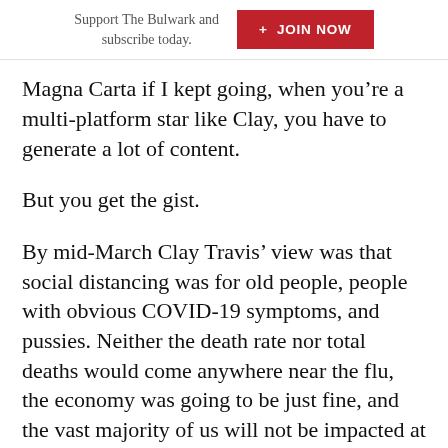Support The Bulwark and subscribe today.  + JOIN NOW
Magna Carta if I kept going, when you’re a multi-platform star like Clay, you have to generate a lot of content.
But you get the gist.
By mid-March Clay Travis’ view was that social distancing was for old people, people with obvious COVID-19 symptoms, and pussies. Neither the death rate nor total deaths would come anywhere near the flu, the economy was going to be just fine, and the vast majority of us will not be impacted at all.